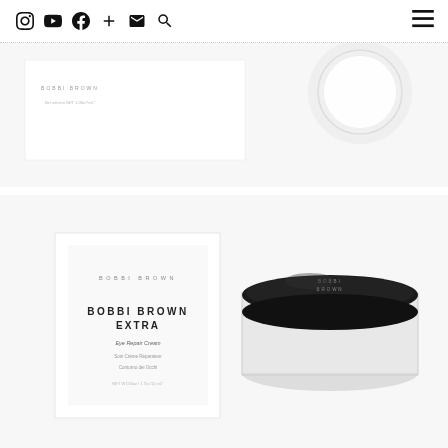Navigation bar with social icons: Instagram, YouTube, Facebook, Plus, Email, Search, and hamburger menu
[Figure (photo): Bobbi Brown product packaging box and open cream jar (partial view, top of page) on white background]
[Figure (photo): Bobbi Brown Extra Eye Repair Cream product shot showing white box packaging with BOBBI BROWN EXTRA Eye Repair Cream text and an open glass jar with black lid containing white cream, on white background]